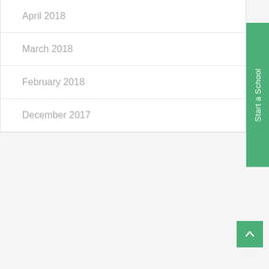April 2018
March 2018
February 2018
December 2017